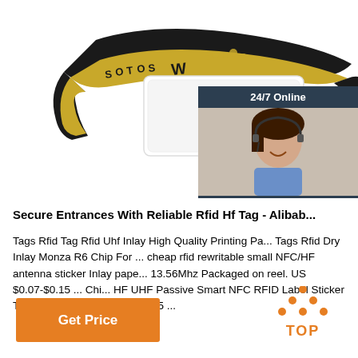[Figure (photo): RFID wristband/tag product photo — black fabric wristband with gold glitter pattern showing text 'SOTOS' and 'W', with a white plastic RFID card holder. Overlaid with a customer service chat widget showing a woman with headset, '24/7 Online' text, 'Click here for free chat!', and a QUOTATION button.]
Secure Entrances With Reliable Rfid Hf Tag - Alibab...
Tags Rfid Tag Rfid Uhf Inlay High Quality Printing Pa... Tags Rfid Dry Inlay Monza R6 Chip For ... cheap rfid rewritable small NFC/HF antenna sticker Inlay pape... 13.56Mhz Packaged on reel. US $0.07-$0.15 ... Chi... HF UHF Passive Smart NFC RFID Label Sticker Tag for vehicle. US $0.10-$0.55 ...
[Figure (logo): TOP badge logo with orange dots arranged in triangle above the word TOP]
Get Price